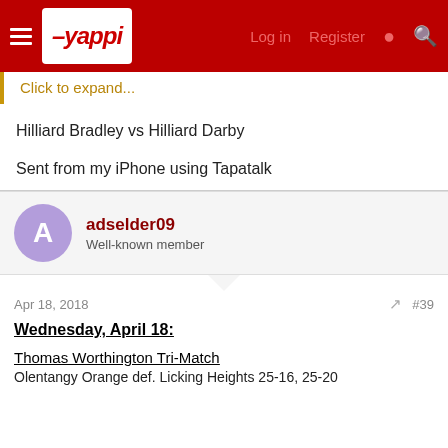Yappi — Log in  Register
Click to expand...
Hilliard Bradley vs Hilliard Darby
Sent from my iPhone using Tapatalk
adselder09
Well-known member
Apr 18, 2018  #39
Wednesday, April 18:
Thomas Worthington Tri-Match
Olentangy Orange def. Licking Heights 25-16, 25-20